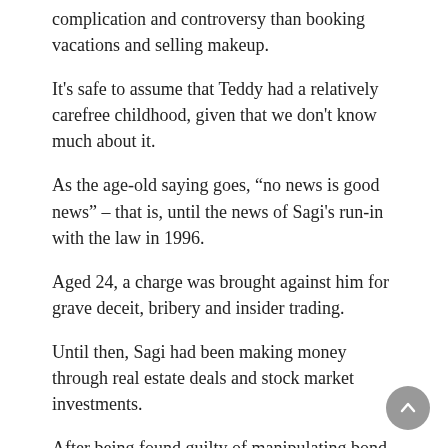complication and controversy than booking vacations and selling makeup.
It's safe to assume that Teddy had a relatively carefree childhood, given that we don't know much about it.
As the age-old saying goes, “no news is good news” – that is, until the news of Sagi's run-in with the law in 1996.
Aged 24, a charge was brought against him for grave deceit, bribery and insider trading.
Until then, Sagi had been making money through real estate deals and stock market investments.
After being found guilty of manipulating bond prices two years prior, he served a nine-month prison sentence.
Although his time in prison was a blot against his otherwise clean slate, Teddy's trading experience allowed him to spot a gap in the market of internet-based companies.